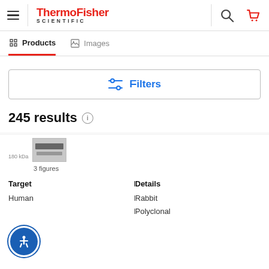[Figure (logo): ThermoFisher Scientific logo with hamburger menu, search and cart icons]
Products | Images
[Figure (other): Filters button with sliders icon]
245 results
[Figure (photo): Western blot image thumbnail with 180kDa band label, 3 figures]
Target
Human

Details
Rabbit
Polyclonal